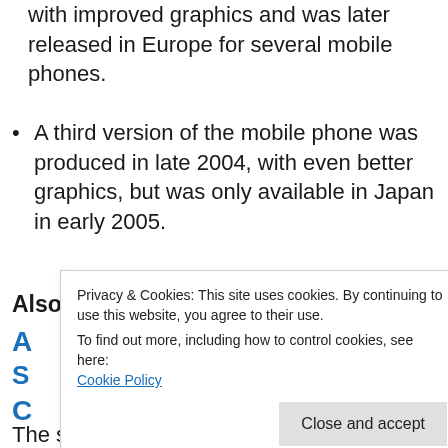with improved graphics and was later released in Europe for several mobile phones.
A third version of the mobile phone was produced in late 2004, with even better graphics, but was only available in Japan in early 2005.
Also Read: Best Toy Army Games For
A
S
C
Privacy & Cookies: This site uses cookies. By continuing to use this website, you agree to their use.
To find out more, including how to control cookies, see here:
Cookie Policy
Close and accept
The same storyline and setting have been